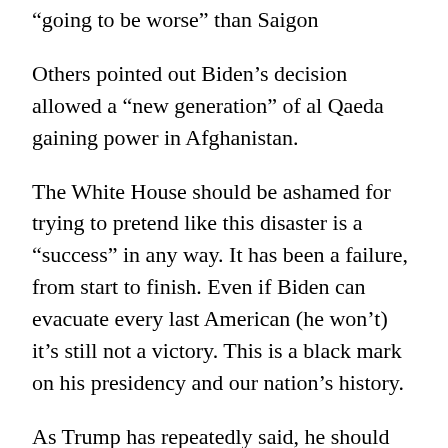“going to be worse” than Saigon
Others pointed out Biden’s decision allowed a “new generation” of al Qaeda gaining power in Afghanistan.
The White House should be ashamed for trying to pretend like this disaster is a “success” in any way. It has been a failure, from start to finish. Even if Biden can evacuate every last American (he won’t) it’s still not a victory. This is a black mark on his presidency and our nation’s history.
As Trump has repeatedly said, he should resign in